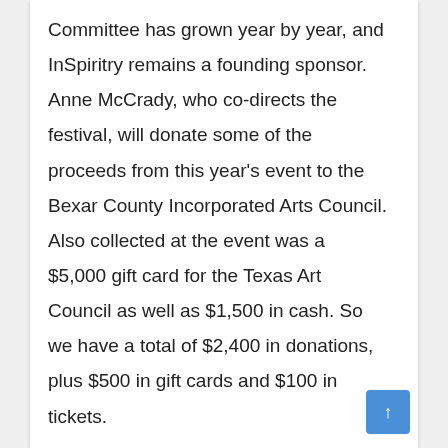Committee has grown year by year, and InSpiritry remains a founding sponsor. Anne McCrady, who co-directs the festival, will donate some of the proceeds from this year's event to the Bexar County Incorporated Arts Council. Also collected at the event was a $5,000 gift card for the Texas Art Council as well as $1,500 in cash. So we have a total of $2,400 in donations, plus $500 in gift cards and $100 in tickets.

    We will also be part of Tyler's Twin Cities program, which includes six international